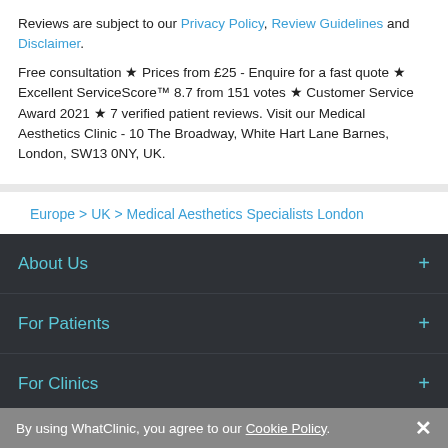Reviews are subject to our Privacy Policy, Review Guidelines and Disclaimer.
Free consultation ★ Prices from £25 - Enquire for a fast quote ★ Excellent ServiceScore™ 8.7 from 151 votes ★ Customer Service Award 2021 ★ 7 verified patient reviews. Visit our Medical Aesthetics Clinic - 10 The Broadway, White Hart Lane Barnes, London, SW13 0NY, UK.
Europe > UK > Medical Aesthetics Specialists London
About Us
For Patients
For Clinics
Excellent  575 reviews on  Trustpilot
Enquire
By using WhatClinic, you agree to our Cookie Policy.